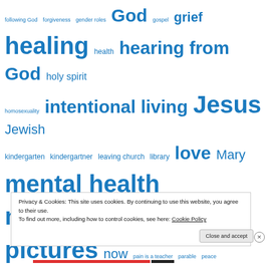[Figure (infographic): Tag cloud with religious and lifestyle topic tags in varying sizes and blue color. Tags include: following God, forgiveness, gender roles, God, gospel, grief, healing, health, hearing from God, holy spirit, homosexuality, intentional living, Jesus, Jewish, kindergarten, kindergartner, leaving church, library, love, Mary, mental health, mindfulness, mostly pictures, now, pain is a teacher, parable, peace, perspective, prayer, prevention, radical inclusion, recovery, rethinking church, retreat, self-care, self love, short story, sin, St. Meinrad's monastery]
Privacy & Cookies: This site uses cookies. By continuing to use this website, you agree to their use. To find out more, including how to control cookies, see here: Cookie Policy
Close and accept